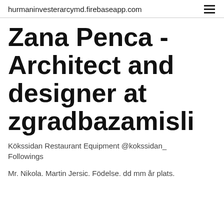hurmaninvesterarcymd.firebaseapp.com
Zana Penca - Architect and designer at zgradbazamisli
Kökssidan Restaurant Equipment @kokssidan_ Followings
Mr. Nikola. Martin Jersic. Födelse. dd mm år plats.